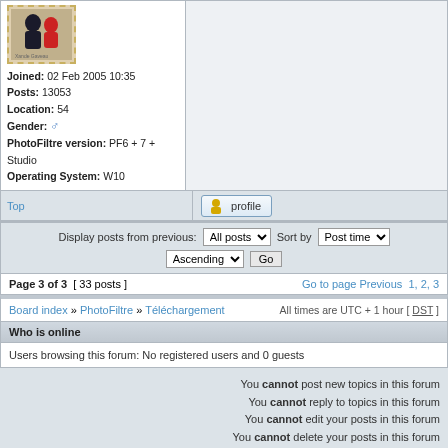[Figure (photo): User avatar thumbnail with dashed border showing a person photo, labeled 'Xande Gaveau']
Joined: 02 Feb 2005 10:35
Posts: 13053
Location: 54
Gender: ♂
PhotoFiltre version: PF6 + 7 + Studio
Operating System: W10
Top
profile
Display posts from previous: All posts  Sort by  Post time
Ascending  Go
Page 3 of 3  [ 33 posts ]  Go to page Previous  1, 2, 3
Board index » PhotoFiltre » Téléchargement  All times are UTC + 1 hour [ DST ]
Who is online
Users browsing this forum: No registered users and 0 guests
You cannot post new topics in this forum
You cannot reply to topics in this forum
You cannot edit your posts in this forum
You cannot delete your posts in this forum
Search for:
Jump to: Téléchargement
Go